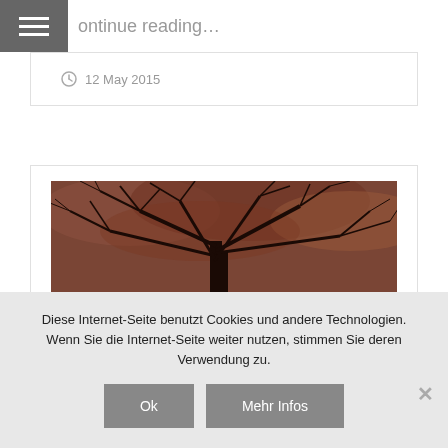continue reading...
12 May 2015
[Figure (photo): Sepia-toned photograph of bare winter tree branches against a dark cloudy sky]
Diese Internet-Seite benutzt Cookies und andere Technologien. Wenn Sie die Internet-Seite weiter nutzen, stimmen Sie deren Verwendung zu.
Ok
Mehr Infos